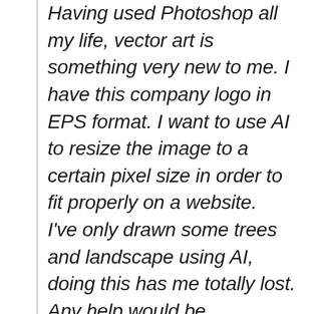Having used Photoshop all my life, vector art is something very new to me. I have this company logo in EPS format. I want to use AI to resize the image to a certain pixel size in order to fit properly on a website. I've only drawn some trees and landscape using AI, doing this has me totally lost. Any help would be appreciated.